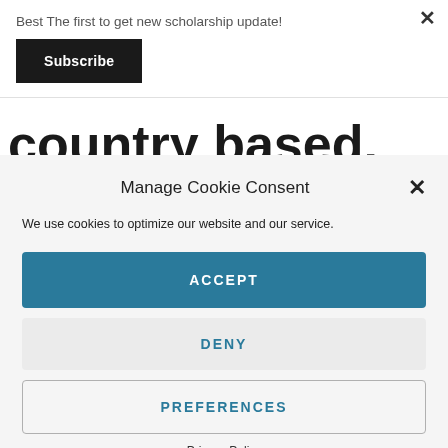Best The first to get new scholarship update!
Subscribe
country based.
Manage Cookie Consent
We use cookies to optimize our website and our service.
ACCEPT
DENY
PREFERENCES
Privacy Policy